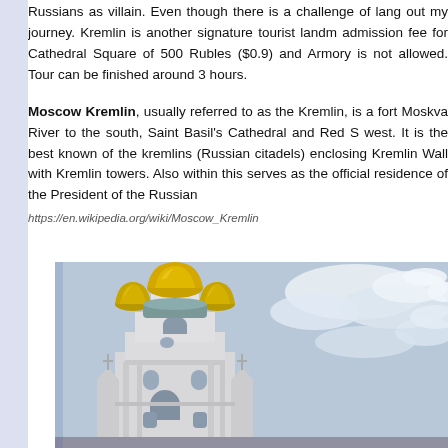Russians as villain. Even though there is a challenge of lang... out my journey. Kremlin is another signature tourist landm... admission fee for Cathedral Square of 500 Rubles ($0.9) and ... Armory is not allowed. Tour can be finished around 3 hours.
Moscow Kremlin, usually referred to as the Kremlin, is a fort... Moskva River to the south, Saint Basil's Cathedral and Red S... west. It is the best known of the kremlins (Russian citadels)... enclosing Kremlin Wall with Kremlin towers. Also within this... serves as the official residence of the President of the Russian...
https://en.wikipedia.org/wiki/Moscow_Kremlin
[Figure (photo): Photograph of a white Moscow Kremlin church building with golden onion domes against a cloudy sky, taken from a low angle looking upward.]